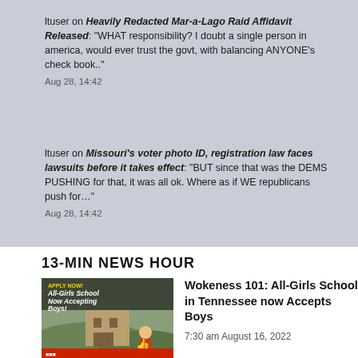ltuser on Heavily Redacted Mar-a-Lago Raid Affidavit Released: "WHAT responsibility? I doubt a single person in america, would ever trust the govt, with balancing ANYONE's check book.."
Aug 28, 14:42
ltuser on Missouri's voter photo ID, registration law faces lawsuits before it takes effect: "BUT since that was the DEMS PUSHING for that, it was all ok. Where as if WE republicans push for..."
Aug 28, 14:42
13-MIN NEWS HOUR
Wokeness 101: All-Girls School in Tennessee now Accepts Boys
7:30 am August 16, 2022